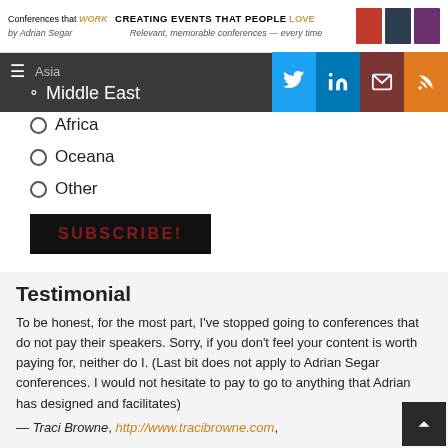Conferences that WORK — CREATING EVENTS THAT PEOPLE LOVE by Adrian Segar — Relevant, memorable conferences — every time
Asia
Middle East
Africa
Oceana
Other
[Figure (other): SUBSCRIBE! button in dark background with red text]
Testimonial
To be honest, for the most part, I've stopped going to conferences that do not pay their speakers. Sorry, if you don't feel your content is worth paying for, neither do I. (Last bit does not apply to Adrian Segar conferences. I would not hesitate to pay to go to anything that Adrian has designed and facilitates)
— Traci Browne, http://www.tracibrowne.com,